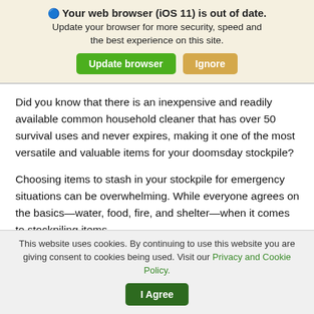[Figure (screenshot): Browser update notification banner with icon, bold title 'Your web browser (iOS 11) is out of date.', subtitle text, and two buttons: 'Update browser' (green) and 'Ignore' (tan/orange)]
Did you know that there is an inexpensive and readily available common household cleaner that has over 50 survival uses and never expires, making it one of the most versatile and valuable items for your doomsday stockpile?
Choosing items to stash in your stockpile for emergency situations can be overwhelming. While everyone agrees on the basics—water, food, fire, and shelter—when it comes to stockpiling items
This website uses cookies. By continuing to use this website you are giving consent to cookies being used. Visit our Privacy and Cookie Policy.   I Agree